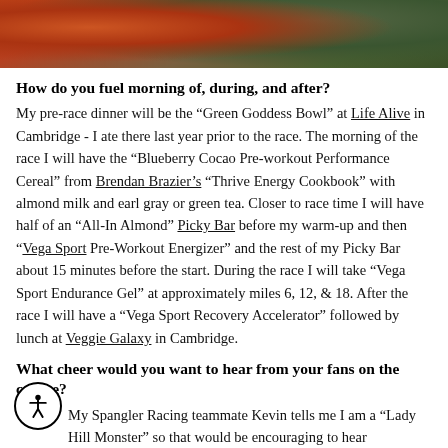[Figure (photo): Cropped photo showing person in orange patterned shorts with greenery in background]
How do you fuel morning of, during, and after?
My pre-race dinner will be the “Green Goddess Bowl” at Life Alive in Cambridge - I ate there last year prior to the race. The morning of the race I will have the “Blueberry Cocao Pre-workout Performance Cereal” from Brendan Brazier’s “Thrive Energy Cookbook” with almond milk and earl gray or green tea. Closer to race time I will have half of an “All-In Almond” Picky Bar before my warm-up and then “Vega Sport Pre-Workout Energizer” and the rest of my Picky Bar about 15 minutes before the start. During the race I will take “Vega Sport Endurance Gel” at approximately miles 6, 12, & 18. After the race I will have a “Vega Sport Recovery Accelerator” followed by lunch at Veggie Galaxy in Cambridge.
What cheer would you want to hear from your fans on the course?
My Spangler Racing teammate Kevin tells me I am a “Lady Hill Monster” so that would be encouraging to hear